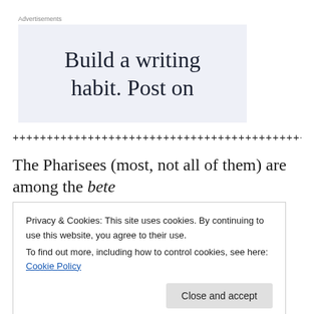Advertisements
[Figure (illustration): Advertisement box with light blue background containing the text 'Build a writing habit. Post on']
+++++++++++++++++++++++++++++++++++++++++++
The Pharisees (most, not all of them) are among the bete
Privacy & Cookies: This site uses cookies. By continuing to use this website, you agree to their use.
To find out more, including how to control cookies, see here: Cookie Policy
[Close and accept]